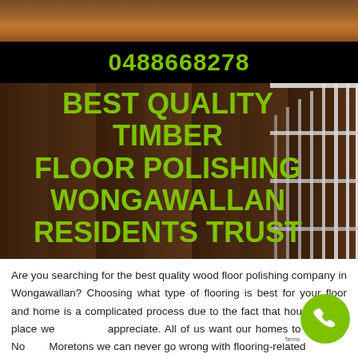[Figure (photo): Wood floor texture strip at very top of page]
0488668278
[Figure (photo): Background photo of polished timber floor with white stair railing on right side]
BEST QUALITY TIMBER FLOOR POLISHING WONGAWALLAN RESIDENTS TRUST
Are you searching for the best quality wood floor polishing company in Wongawallan? Choosing what type of flooring is best for your floor and home is a complicated process due to the fact that house is one place we appreciate. All of us want our homes to be ideal. No Moretons we can never go wrong with flooring-related